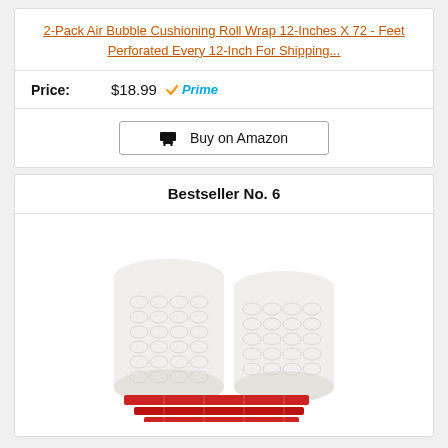2-Pack Air Bubble Cushioning Roll Wrap 12-Inches X 72 - Feet Perforated Every 12-Inch For Shipping...
Price: $18.99 Prime
Buy on Amazon
Bestseller No. 6
[Figure (photo): Two rolls of bubble wrap cushioning alongside red perforated tape/stickers]